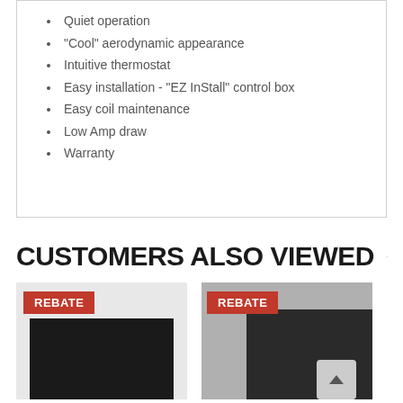Quiet operation
"Cool" aerodynamic appearance
Intuitive thermostat
Easy installation - "EZ InStall" control box
Easy coil maintenance
Low Amp draw
Warranty
CUSTOMERS ALSO VIEWED
[Figure (photo): Product with REBATE badge - dark rectangular unit]
[Figure (photo): Product with REBATE badge - dark square unit]